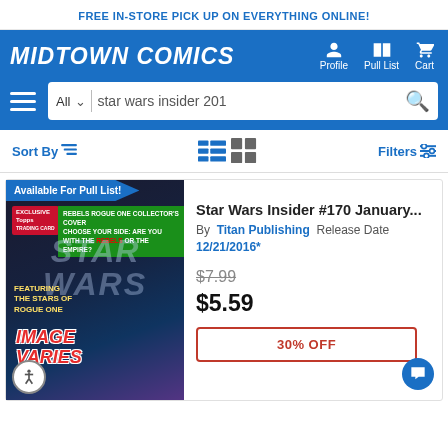FREE IN-STORE PICK UP ON EVERYTHING ONLINE!
MIDTOWN COMICS
Profile  Pull List  Cart
All   star wars insider 201
Sort By  Filters
Available For Pull List!
[Figure (screenshot): Star Wars Insider magazine cover with Rogue One characters, Star Wars logo, IMAGE VARIES text overlay]
Star Wars Insider #170 January...
By Titan Publishing  Release Date 12/21/2016*

$7.99

$5.59

30% OFF